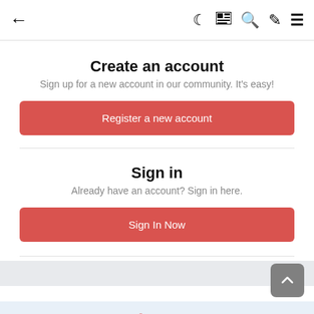← navigation bar with icons: moon, grid, search, brush, menu
Create an account
Sign up for a new account in our community. It's easy!
Register a new account
Sign in
Already have an account? Sign in here.
Sign In Now
Share
Followers